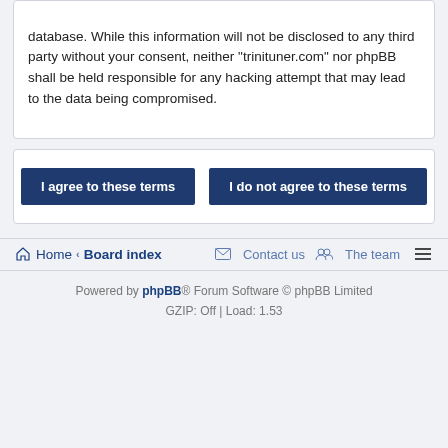database. While this information will not be disclosed to any third party without your consent, neither "trinituner.com" nor phpBB shall be held responsible for any hacking attempt that may lead to the data being compromised.
I agree to these terms | I do not agree to these terms
Home · Board index   Contact us   The team   ≡
Powered by phpBB® Forum Software © phpBB Limited
GZIP: Off | Load: 1.53